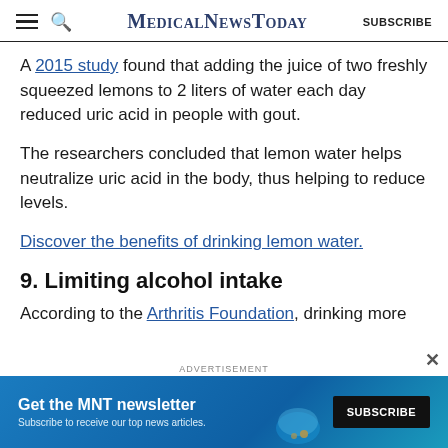MedicalNewsToday SUBSCRIBE
A 2015 study found that adding the juice of two freshly squeezed lemons to 2 liters of water each day reduced uric acid in people with gout.
The researchers concluded that lemon water helps neutralize uric acid in the body, thus helping to reduce levels.
Discover the benefits of drinking lemon water.
9. Limiting alcohol intake
According to the Arthritis Foundation, drinking more
ADVERTISEMENT Get the MNT newsletter Subscribe to receive our top news articles. SUBSCRIBE